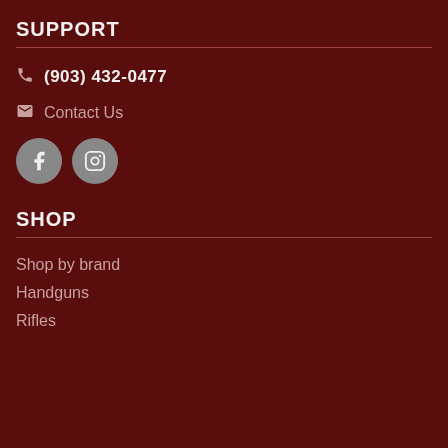SUPPORT
(903) 432-0477
Contact Us
[Figure (illustration): Facebook and Instagram social media icon circles in gray]
SHOP
Shop by brand
Handguns
Rifles